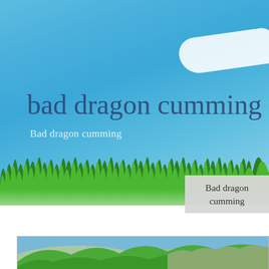[Figure (photo): Blue sky with white cloud and green grass strip at bottom, nature landscape]
bad dragon cumming
Bad dragon cumming
Bad dragon cumming
[Figure (photo): Green hilly landscape with blue-grey sky, terraced hills]